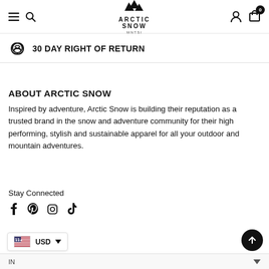Arctic Snow — Navigation bar with menu, search, logo, account, cart (0)
30 DAY RIGHT OF RETURN
ABOUT ARCTIC SNOW
Inspired by adventure, Arctic Snow is building their reputation as a trusted brand in the snow and adventure community for their high performing, stylish and sustainable apparel for all your outdoor and mountain adventures.
Stay Connected
[Figure (infographic): Social media icons: Facebook, Pinterest, Instagram, TikTok]
USD currency selector with US flag and dropdown; scroll-to-top button